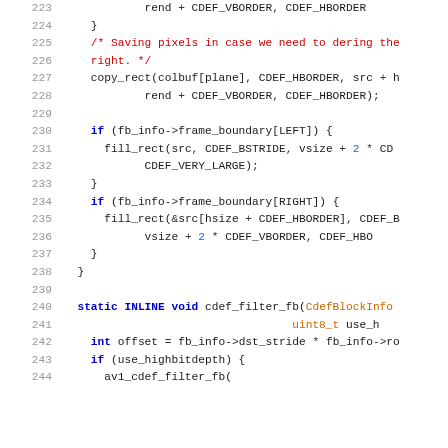Source code listing lines 223-244, C/C++ code for cdef filter functions
[Figure (screenshot): Code editor view showing C source code lines 223-244 with syntax highlighting. Code includes copy_rect and fill_rect calls, frame boundary checks, and cdef_filter_fb function definition.]